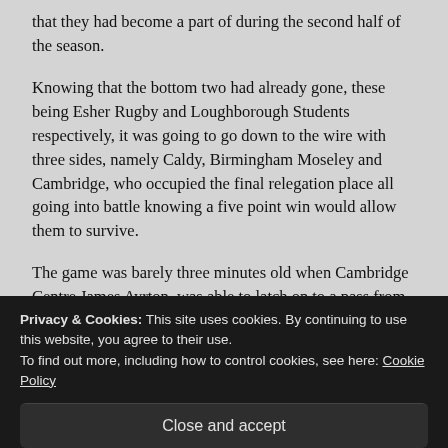that they had become a part of during the second half of the season.
Knowing that the bottom two had already gone, these being Esher Rugby and Loughborough Students respectively, it was going to go down to the wire with three sides, namely Caldy, Birmingham Moseley and Cambridge, who occupied the final relegation place all going into battle knowing a five point win would allow them to survive.
The game was barely three minutes old when Cambridge Centre James Ayrton, was able to latch on to a pass from brother Michael, who had run around the oncoming Sale
Privacy & Cookies: This site uses cookies. By continuing to use this website, you agree to their use.
To find out more, including how to control cookies, see here: Cookie Policy
Close and accept
Now that the visitors had taken a seven point lead in the